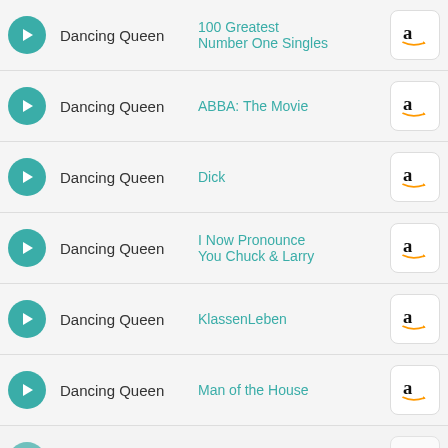Dancing Queen — 100 Greatest Number One Singles
Dancing Queen — ABBA: The Movie
Dancing Queen — Dick
Dancing Queen — I Now Pronounce You Chuck & Larry
Dancing Queen — KlassenLeben
Dancing Queen — Man of the House
Dancing Queen — Muriel's Wedding
Dancing Queen — Summer of Sam
By closing this message, you consent to our cookies on this device in accordance with our cookie policy unless you have disabled them - Cookie policy